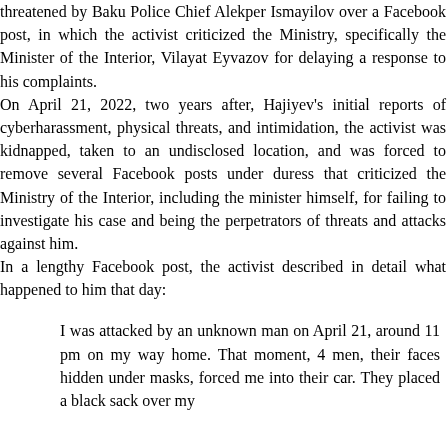threatened by Baku Police Chief Alekper Ismayilov over a Facebook post, in which the activist criticized the Ministry, specifically the Minister of the Interior, Vilayat Eyvazov for delaying a response to his complaints. On April 21, 2022, two years after, Hajiyev's initial reports of cyberharassment, physical threats, and intimidation, the activist was kidnapped, taken to an undisclosed location, and was forced to remove several Facebook posts under duress that criticized the Ministry of the Interior, including the minister himself, for failing to investigate his case and being the perpetrators of threats and attacks against him. In a lengthy Facebook post, the activist described in detail what happened to him that day:
I was attacked by an unknown man on April 21, around 11 pm on my way home. That moment, 4 men, their faces hidden under masks, forced me into their car. They placed a black sack over my